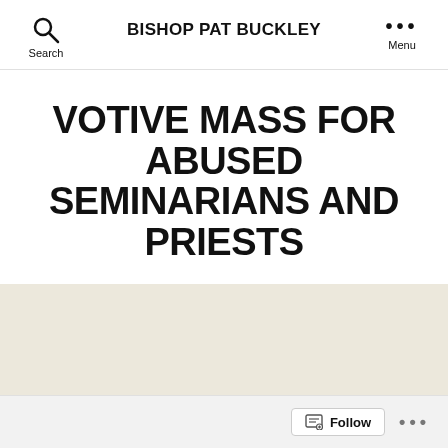BISHOP PAT BUCKLEY
VOTIVE MASS FOR ABUSED SEMINARIANS AND PRIESTS
By bishoppat  Feb 15, 2020  85 Comments